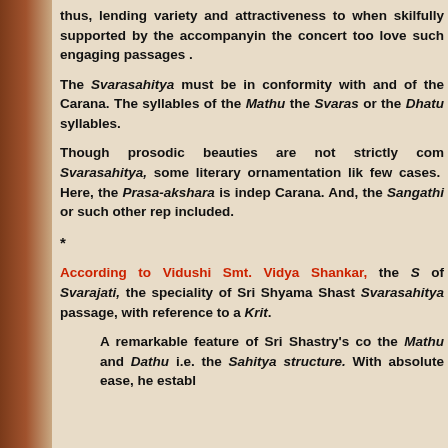thus, lending variety and attractiveness to when skilfully supported by the accompanying the concert too love such engaging passages .
The Svarasahitya must be in conformity with and of the Carana. The syllables of the Mathu the Svaras or the Dhatu syllables.
Though prosodic beauties are not strictly com Svarasahitya, some literary ornamentation like few cases. Here, the Prasa-akshara is indep Carana. And, the Sangathi or such other rep included.
*
According to Vidushi Smt. Vidya Shankar, the S of Svarajati, the speciality of Sri Shyama Shast Svarasahitya passage, with reference to a Krit.
A remarkable feature of Sri Shastry's co the Mathu and Dathu i.e. the Sahitya w structure. With absolute ease, he establ